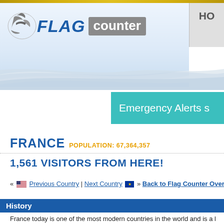[Figure (logo): Flag Counter logo with eagle icon, blue FLAG text and grey counter badge]
[Figure (infographic): Emergency Alerts banner in teal/turquoise color, text reads 'Emergency Alerts s...' (cut off)]
FRANCE POPULATION: 67,364,357
1,561 VISITORS FROM HERE!
« Previous Country | Next Country » Back to Flag Counter Overview
History
France today is one of the most modern countries in the world and is a permanent member of the United Nations Security Council, NATO, the C...